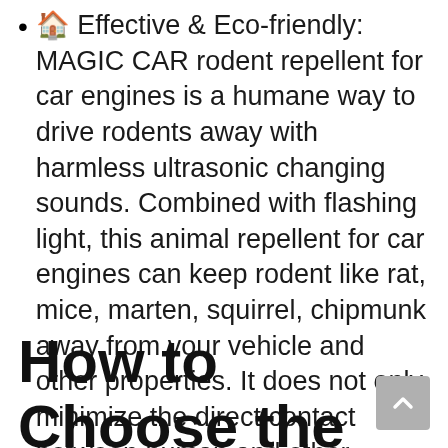🏠 Effective & Eco-friendly: MAGIC CAR rodent repellent for car engines is a humane way to drive rodents away with harmless ultrasonic changing sounds. Combined with flashing light, this animal repellent for car engines can keep rodent like rat, mice, marten, squirrel, chipmunk away from your vehicle and other properties. It does not only minimize the direct contact between human and other disease-bearing rodent, but also protect the environment and maintain the balance between human and nature.
How to Choose the Best Battery